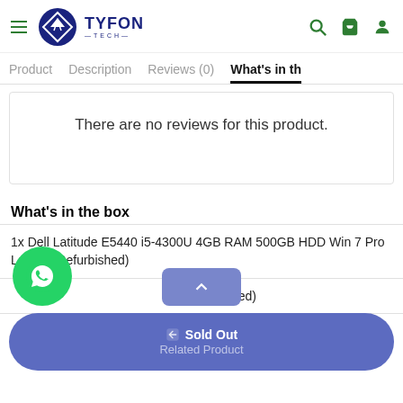TYFON TECH — Navigation header with logo, hamburger menu, search, cart, and user icons
Product | Description | Reviews (0) | What's in th
There are no reviews for this product.
What's in the box
1x Dell Latitude E5440 i5-4300U 4GB RAM 500GB HDD Win 7 Pro Laptop (Refurbished)
1x Adapter (Used)
Sold Out
Related Product